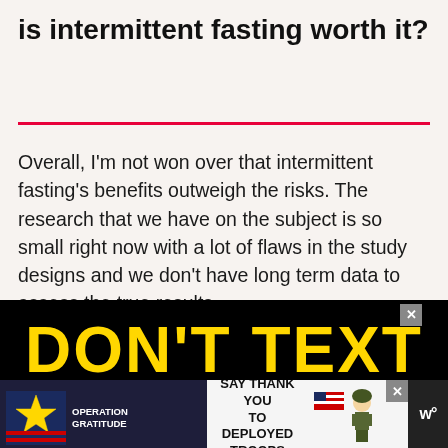is intermittent fasting worth it?
Overall, I'm not won over that intermittent fasting's benefits outweigh the risks. The research that we have on the subject is so small right now with a lot of flaws in the study designs and we don't have long term data to assess the true results.
[Figure (advertisement): Advertisement showing 'DON'T TEXT' in large yellow letters on black background, with a bottom bar containing Operation Gratitude logo and 'SAY THANK YOU TO DEPLOYED TROOPS' text alongside a cartoon soldier image and close button]